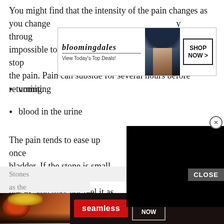You might find that the intensity of the pain changes as you change through impossible to lie still, tossing and turning in an effort to stop the pain. Pain can subside for several hours before returning.
[Figure (other): Bloomingdale's advertisement banner with model in hat. Text: 'bloomingdales', 'View Today's Top Deals!', 'SHOP NOW >']
vomiting
blood in the urine
The pain tends to ease up once [the stone reaches the] bladder. If the stone is small, or [broken into small] pieces, you may not feel it as it flows from the bladder, through the urethra , and out with the urine.
[Figure (other): Black video overlay rectangle with close X button]
Stones [text cut off] s wide as the [text cut off] of
[Figure (other): Seamless food ordering advertisement. Text: 'seamless', 'ORDER NOW'. Close button shown.]